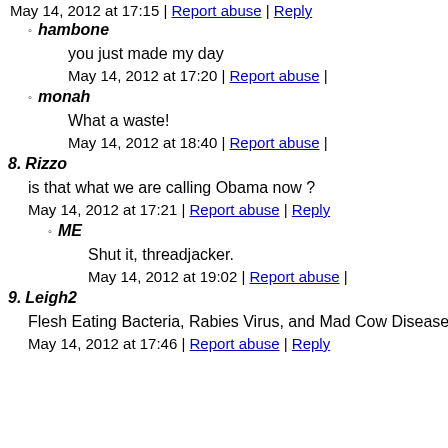May 14, 2012 at 17:15 | Report abuse | Reply
hambone
you just made my day
May 14, 2012 at 17:20 | Report abuse |
monah
What a waste!
May 14, 2012 at 18:40 | Report abuse |
8. Rizzo
is that what we are calling Obama now ?
May 14, 2012 at 17:21 | Report abuse | Reply
ME
Shut it, threadjacker.
May 14, 2012 at 19:02 | Report abuse |
9. Leigh2
Flesh Eating Bacteria, Rabies Virus, and Mad Cow Disease. I'o malevolent afflictions. Kind of otherworldly in my book, but th
May 14, 2012 at 17:46 | Report abuse | Reply